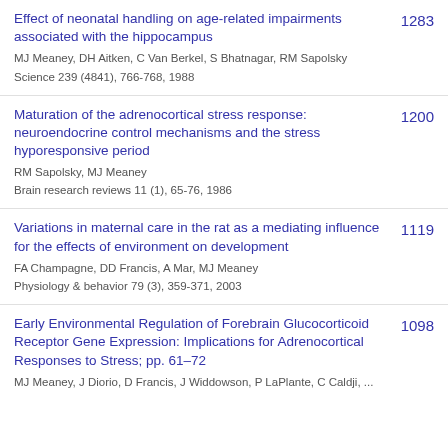Effect of neonatal handling on age-related impairments associated with the hippocampus | MJ Meaney, DH Aitken, C Van Berkel, S Bhatnagar, RM Sapolsky | Science 239 (4841), 766-768, 1988 | 1283
Maturation of the adrenocortical stress response: neuroendocrine control mechanisms and the stress hyporesponsive period | RM Sapolsky, MJ Meaney | Brain research reviews 11 (1), 65-76, 1986 | 1200
Variations in maternal care in the rat as a mediating influence for the effects of environment on development | FA Champagne, DD Francis, A Mar, MJ Meaney | Physiology & behavior 79 (3), 359-371, 2003 | 1119
Early Environmental Regulation of Forebrain Glucocorticoid Receptor Gene Expression: Implications for Adrenocortical Responses to Stress; pp. 61–72 | MJ Meaney, J Diorio, D Francis, J Widdowson, P LaPlante, C Caldji, ... | 1098